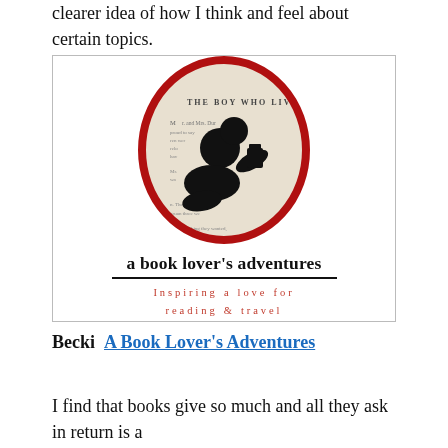clearer idea of how I think and feel about certain topics.
[Figure (logo): A Book Lover's Adventures logo: oval with book page background (Harry Potter 'The Boy Who Lived' chapter) and a silhouette icon of a person reading, with bold text 'a book lover's adventures' and red italic subtitle 'Inspiring a love for reading & travel']
Becki  A Book Lover's Adventures
I find that books give so much and all they ask in return is a